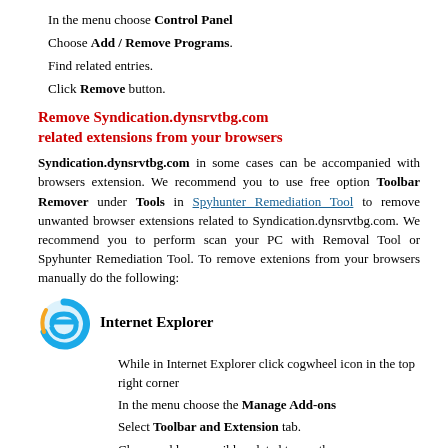In the menu choose Control Panel
Choose Add / Remove Programs.
Find related entries.
Click Remove button.
Remove Syndication.dynsrvtbg.com related extensions from your browsers
Syndication.dynsrvtbg.com in some cases can be accompanied with browsers extension. We recommend you to use free option Toolbar Remover under Tools in Spyhunter Remediation Tool to remove unwanted browser extensions related to Syndication.dynsrvtbg.com. We recommend you to perform scan your PC with Removal Tool or Spyhunter Remediation Tool. To remove extenions from your browsers manually do the following:
[Figure (logo): Internet Explorer browser logo icon (blue swirling e)]
Internet Explorer
While in Internet Explorer click cogwheel icon in the top right corner
In the menu choose the Manage Add-ons
Select Toolbar and Extension tab.
Choose add-on possibly related to or other